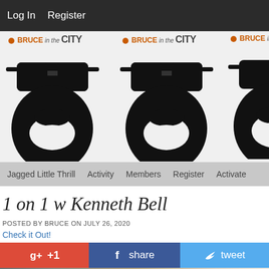Log In   Register
[Figure (logo): Repeating 'Bruce in the City' logo — bearded face with sunglasses, shown three times across a banner]
Jagged Little Thrill   Activity   Members   Register   Activate
1 on 1 w Kenneth Bell
POSTED BY BRUCE ON JULY 26, 2020
Check it Out!
[Figure (infographic): Social sharing buttons: Google +1 (red), Facebook share (dark blue), Twitter tweet (light blue), Reddit share (light blue/grey)]
[Figure (photo): Partial photo strip at the bottom showing blurred indoor/outdoor scene]